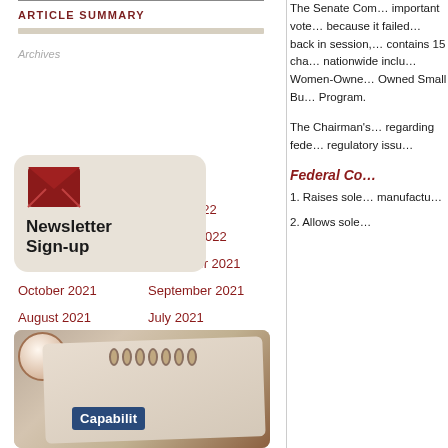ARTICLE SUMMARY
May 2022
March 2022
January 2022
November 2021
October 2021
September 2021
August 2021
July 2021
[Figure (illustration): Newsletter Sign-up widget with email envelope icon on beige rounded card]
[Figure (photo): Photo of a spiral-bound notebook with Capability text visible, next to a coffee cup]
The Senate Com... important vote... because it failed... back in session,... contains 15 cha... nationwide inclu... Women-Owne... Owned Small Bu... Program.
The Chairman's... regarding fede... regulatory issu...
Federal Co...
1. Raises sole... manufactu...
2. Allows sole...